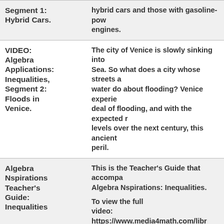| Title | Description |
| --- | --- |
| Segment 1: Hybrid Cars. | hybrid cars and those with gasoline-powered engines. |
| VIDEO: Algebra Applications: Inequalities, Segment 2: Floods in Venice. | The city of Venice is slowly sinking into the Sea. So what does a city whose streets are water do about flooding? Venice experiences a great deal of flooding, and with the expected rise in sea levels over the next century, this ancient city is in peril. |
| Algebra Nspirations Teacher's Guide: Inequalities | This is the Teacher's Guide that accompanies Algebra Nspirations: Inequalities.

To view the full video: https://www.media4math.com/library/algebra-nspirations-inequalities |
|  | Used in just about any industry, inequalities... |